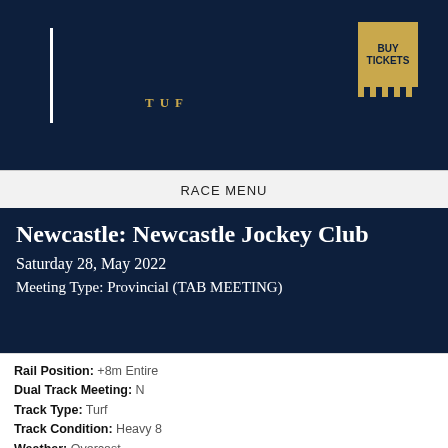[Figure (logo): Dark navy header with vertical white line/dot bar on left and gold TUF text, plus gold Buy Tickets badge on right]
RACE MENU
Newcastle: Newcastle Jockey Club
Saturday 28, May 2022
Meeting Type: Provincial (TAB MEETING)
Rail Position: +8m Entire
Dual Track Meeting: N
Track Type: Turf
Track Condition: Heavy 8
Weather: Overcast
Penetrometer:
Track Information:
Results Last Published: Sun 29 May 22 10:01PM AEST